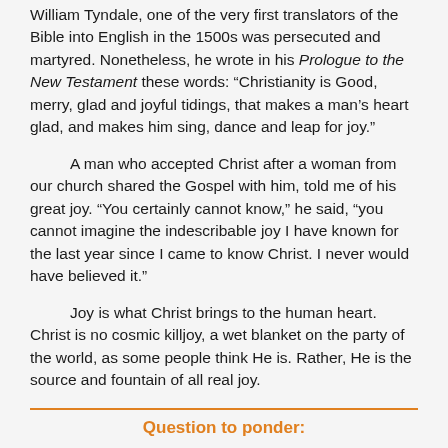William Tyndale, one of the very first translators of the Bible into English in the 1500s was persecuted and martyred. Nonetheless, he wrote in his Prologue to the New Testament these words: “Christianity is Good, merry, glad and joyful tidings, that makes a man’s heart glad, and makes him sing, dance and leap for joy.”
A man who accepted Christ after a woman from our church shared the Gospel with him, told me of his great joy. “You certainly cannot know,” he said, “you cannot imagine the indescribable joy I have known for the last year since I came to know Christ. I never would have believed it.”
Joy is what Christ brings to the human heart. Christ is no cosmic killjoy, a wet blanket on the party of the world, as some people think He is. Rather, He is the source and fountain of all real joy.
Question to ponder: